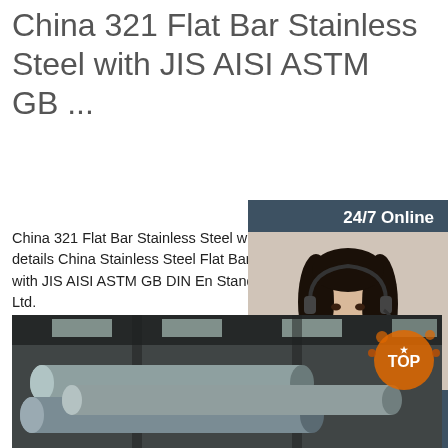China 321 Flat Bar Stainless Steel with JIS AISI ASTM GB ...
China 321 Flat Bar Stainless Steel with JIS AISI ASTM GB DIN En Standard, Find details China Stainless Steel Flat Bar, Steel Flat Bar from 321 Flat Bar Stainless Steel with JIS AISI ASTM GB DIN En Standard - Tianjin Boer King Import and Export Co., Ltd.
[Figure (other): Green 'Get Price' button]
[Figure (other): 24/7 online chat widget with female customer service representative photo, 'Click here for free chat!' text, and orange QUOTATION button]
[Figure (photo): Industrial photo of stainless steel flat bars inside a factory/warehouse]